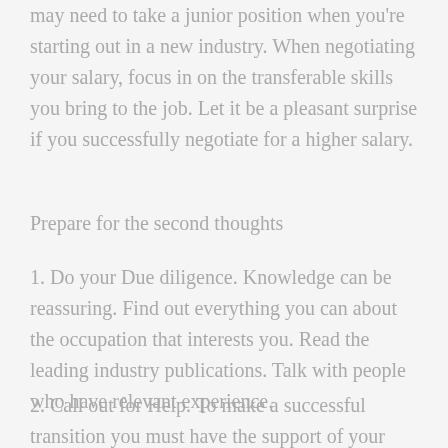may need to take a junior position when you're starting out in a new industry. When negotiating your salary, focus in on the transferable skills you bring to the job. Let it be a pleasant surprise if you successfully negotiate for a higher salary.
Prepare for the second thoughts
1. Do your Due diligence. Knowledge can be reassuring. Find out everything you can about the occupation that interests you. Read the leading industry publications. Talk with people who have relevant experience.
2. Call out for Help. To make a successful transition you must have the support of your loved ones. Your spouse and children may be